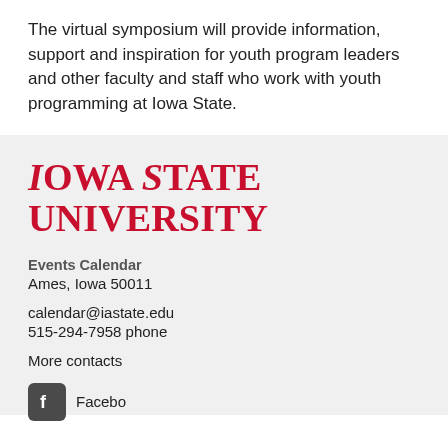The virtual symposium will provide information, support and inspiration for youth program leaders and other faculty and staff who work with youth programming at Iowa State.
[Figure (logo): Iowa State University logo in red serif font reading IOWA STATE UNIVERSITY]
Events Calendar
Ames, Iowa 50011

calendar@iastate.edu
515-294-7958 phone

More contacts
[Figure (logo): Facebook icon (dark square with f logo) followed by partial text 'Facebo...']